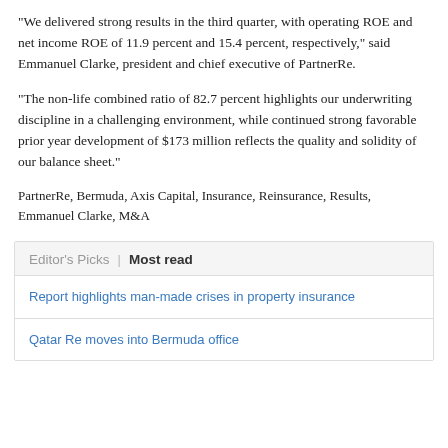“We delivered strong results in the third quarter, with operating ROE and net income ROE of 11.9 percent and 15.4 percent, respectively,” said Emmanuel Clarke, president and chief executive of PartnerRe.
“The non-life combined ratio of 82.7 percent highlights our underwriting discipline in a challenging environment, while continued strong favorable prior year development of $173 million reflects the quality and solidity of our balance sheet.”
PartnerRe, Bermuda, Axis Capital, Insurance, Reinsurance, Results, Emmanuel Clarke, M&A
Editor’s Picks | Most read
Report highlights man-made crises in property insurance
Qatar Re moves into Bermuda office